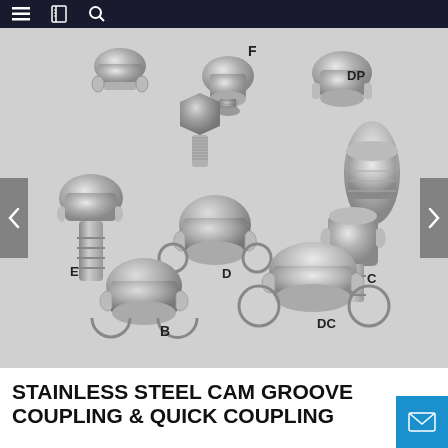Navigation bar with menu, book, and search icons
[Figure (photo): Stainless steel cam groove coupling and quick coupling fittings arranged on grey background, labeled with letters: F (top center), DP (right center-top), C (right center), E (left center), D (center), DC (bottom center-right), B (bottom center-left)]
STAINLESS STEEL CAM GROOVE COUPLING & QUICK COUPLING